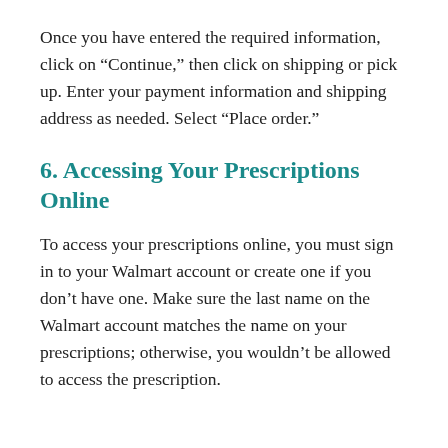Once you have entered the required information, click on “Continue,” then click on shipping or pick up. Enter your payment information and shipping address as needed. Select “Place order.”
6. Accessing Your Prescriptions Online
To access your prescriptions online, you must sign in to your Walmart account or create one if you don’t have one. Make sure the last name on the Walmart account matches the name on your prescriptions; otherwise, you wouldn’t be allowed to access the prescription.